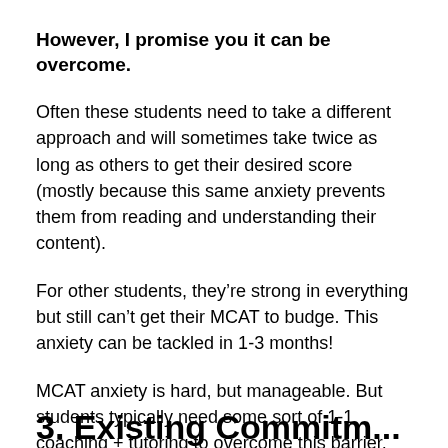However, I promise you it can be overcome.
Often these students need to take a different approach and will sometimes take twice as long as others to get their desired score (mostly because this same anxiety prevents them from reading and understanding their content).
For other students, they’re strong in everything but still can’t get their MCAT to budge. This anxiety can be tackled in 1-3 months!
MCAT anxiety is hard, but manageable. But students typically need some sort of 1-1 coaching + tutoring to overcome this barrier.
3. Existing Commitments...